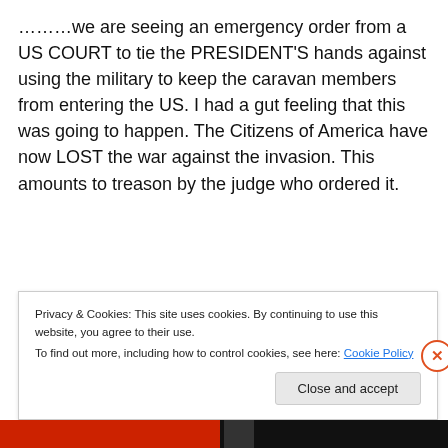………we are seeing an emergency order from a US COURT to tie the PRESIDENT'S hands against using the military to keep the caravan members from entering the US. I had a gut feeling that this was going to happen. The Citizens of America have now LOST the war against the invasion. This amounts to treason by the judge who ordered it.
Privacy & Cookies: This site uses cookies. By continuing to use this website, you agree to their use. To find out more, including how to control cookies, see here: Cookie Policy